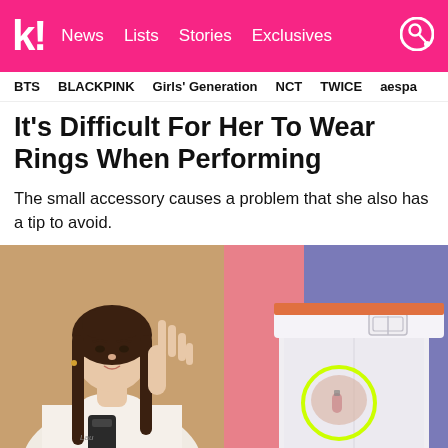k! News  Lists  Stories  Exclusives
BTS  BLACKPINK  Girls' Generation  NCT  TWICE  aespa
It's Difficult For Her To Wear Rings When Performing
The small accessory causes a problem that she also has a tip to avoid.
[Figure (photo): Left: A young woman in a white t-shirt holding a microphone pack, raising her hand to show her fingers. Right: Close-up of a performer's waist and hand area wearing white pants with a white belt, with a yellow-green circle highlighting something in her hand area.]